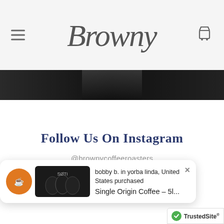Browny
[Figure (photo): Dark banner image at top of page below header]
Follow Us On Instagram
@brownycoffeeroasters
bobby b. in yorba linda, United States purchased Single Origin Coffee - 5l...
[Figure (logo): TrustedSite badge with green checkmark]